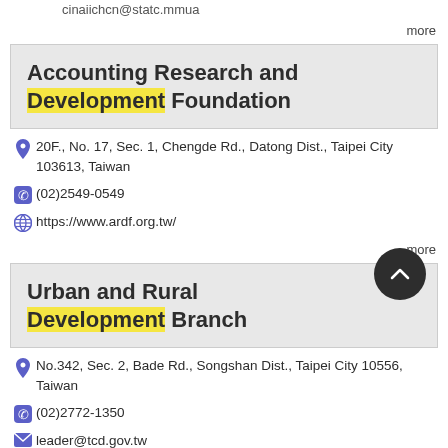cinaiichcn@statc.mmua
more
Accounting Research and Development Foundation
20F., No. 17, Sec. 1, Chengde Rd., Datong Dist., Taipei City 103613, Taiwan
(02)2549-0549
https://www.ardf.org.tw/
more
Urban and Rural Development Branch
No.342, Sec. 2, Bade Rd., Songshan Dist., Taipei City 10556, Taiwan
(02)2772-1350
leader@tcd.gov.tw
https://www.tcd.gov.tw/index.php